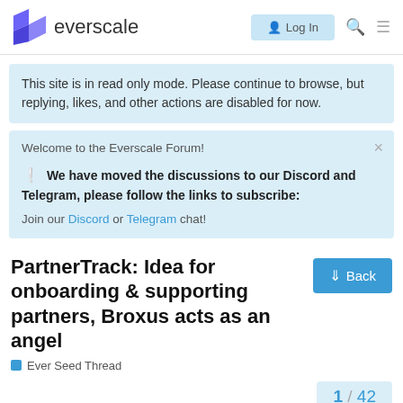everscale — Log In
This site is in read only mode. Please continue to browse, but replying, likes, and other actions are disabled for now.
Welcome to the Everscale Forum!
❗ We have moved the discussions to our Discord and Telegram, please follow the links to subscribe:
Join our Discord or Telegram chat!
PartnerTrack: Idea for onboarding & supporting partners, Broxus acts as an angel
Ever Seed Thread
1 / 42
Margos